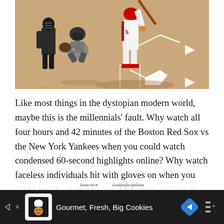[Figure (photo): Baseball game photo showing a batter at home plate, a catcher crouching, and an umpire standing behind, on a dirt infield with chalk baselines visible.]
Like most things in the dystopian modern world, maybe this is the millennials' fault. Why watch all four hours and 42 minutes of the Boston Red Sox vs the New York Yankees when you could watch condensed 60-second highlights online? Why watch faceless individuals hit with gloves on when you could watch celebrities like McGregor engage in bare-knuckle cage fighting?
[Figure (screenshot): Advertisement banner at bottom of screen: dark background with a cookie/chef logo icon on left, text 'Gourmet, Fresh, Big Cookies', a blue diamond navigation arrow, and a sound/menu icon on the right. A faded navigation strip is visible above it.]